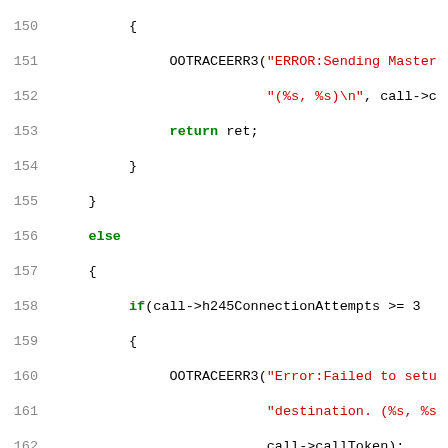[Figure (screenshot): Source code listing showing C code with line numbers 150-177, syntax highlighted with green keywords, red strings, and black plain code.]